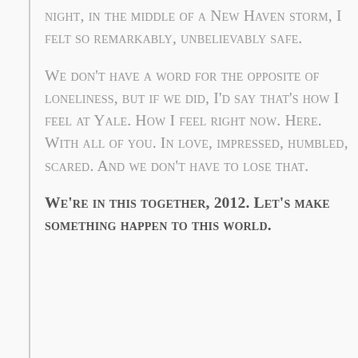night, in the middle of a New Haven storm, I felt so remarkably, unbelievably safe.
We don't have a word for the opposite of loneliness, but if we did, I'd say that's how I feel at Yale. How I feel right now. Here. With all of you. In love, impressed, humbled, scared. And we don't have to lose that.
We're in this together, 2012. Let's make something happen to this world.